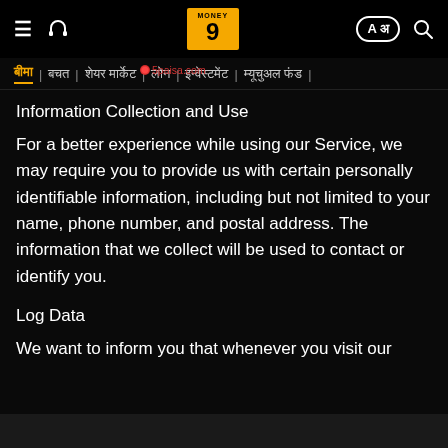Money9 website header with navigation: hamburger menu, headphone icon, Money9 logo, language selector (A अ), search icon
बीमा | बचत | शेयर मार्केट | लोन | इन्वेस्टमेंट | म्यूचुअल फंड |
Information Collection and Use
For a better experience while using our Service, we may require you to provide us with certain personally identifiable information, including but not limited to your name, phone number, and postal address. The information that we collect will be used to contact or identify you.
Log Data
We want to inform you that whenever you visit our